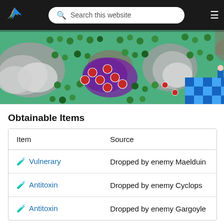Search this website
[Figure (screenshot): Top-down RPG game map screenshot showing a green terrain with mountains, forests, red enemy units, a purple area, and blue checkered tiles in the lower right corner.]
Obtainable Items
| Item | Source |
| --- | --- |
| 🧪 Vulnerary | Dropped by enemy Maelduin |
| 🧪 Antitoxin | Dropped by enemy Cyclops |
| 🧪 Antitoxin | Dropped by enemy Gargoyle |